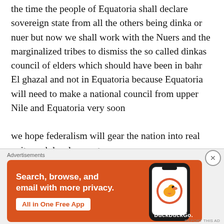the time the people of Equatoria shall declare sovereign state from all the others being dinka or nuer but now we shall work with the Nuers and the marginalized tribes to dismiss the so called dinkas council of elders which should have been in bahr El ghazal and not in Equatoria because Equatoria will need to make a national council from upper Nile and Equatoria very soon
we hope federalism will gear the nation into real unity and development
Advertisements
[Figure (illustration): DuckDuckGo advertisement banner on orange background showing 'Search, browse, and email with more privacy. All in One Free App' with a smartphone graphic and DuckDuckGo logo/branding.]